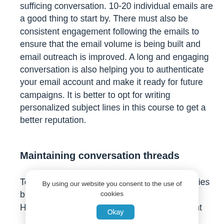sufficing conversation. 10-20 individual emails are a good thing to start by. There must also be consistent engagement following the emails to ensure that the email volume is being built and email outreach is improved. A long and engaging conversation is also helping you to authenticate your email account and make it ready for future campaigns. It is better to opt for writing personalized subject lines in this course to get a better reputation.
Maintaining conversation threads
To warm u[p your inbox, it is not just getting replies but [also engagement too. Having a conversation is important, but it might
By using our website you consent to the use of cookies [Okay]